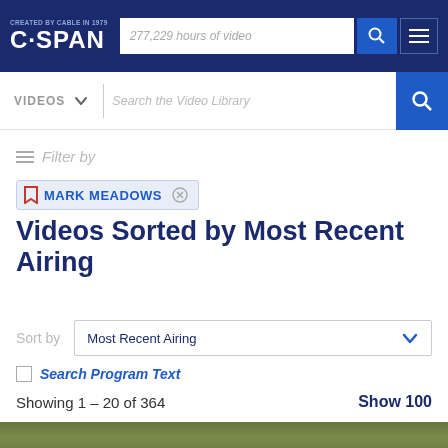C-SPAN — CREATED BY CABLE IN 1979 — 277,229 hours of video
VIDEOS
Search the Video Library
Filter by
MARK MEADOWS
Videos Sorted by Most Recent Airing
Sort by  Most Recent Airing
Search Program Text
Showing 1 – 20 of 364  Show 100
[Figure (photo): Partial thumbnail photo of a person outdoors with green foliage background]